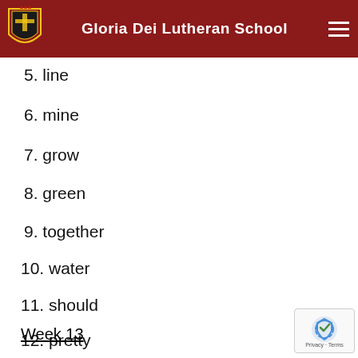Gloria Dei Lutheran School
5. line
6. mine
7. grow
8. green
9. together
10. water
11. should
12. pretty
Week 13